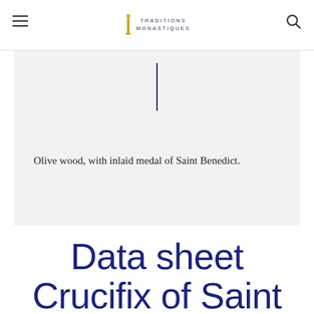TRADITIONS MONASTIQUES
[Figure (illustration): Gray box region with a vertical dark blue line centered near the top, representing an image placeholder or decorative divider]
Olive wood, with inlaid medal of Saint Benedict.
Data sheet Crucifix of Saint Benedict - Olive